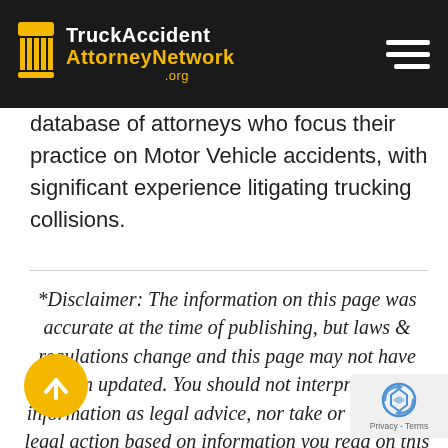[Figure (logo): TruckAccident AttorneyNetwork .org logo on dark header bar with hamburger menu icon]
database of attorneys who focus their practice on Motor Vehicle accidents, with significant experience litigating trucking collisions.
*Disclaimer: The information on this page was accurate at the time of publishing, but laws & regulations change and this page may not have been updated. You should not interpret this information as legal advice, nor take or delay any legal action based on information you read on this page or any page of this website. In all legal matters you should consult a qualified attorney in your state before making any
[Figure (other): Back to top arrow button (yellow circle) and reCAPTCHA privacy badge]